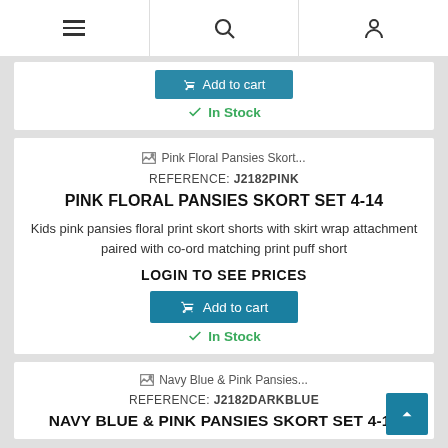Navigation header with hamburger menu, search icon, and user/account icon
[Figure (screenshot): Truncated add to cart button for first product (partially visible at top)]
In Stock
[Figure (photo): Pink Floral Pansies Skort... product image placeholder]
REFERENCE: J2182PINK
PINK FLORAL PANSIES SKORT SET 4-14
Kids pink pansies floral print skort shorts with skirt wrap attachment paired with co-ord matching print puff short
LOGIN TO SEE PRICES
Add to cart
In Stock
[Figure (photo): Navy Blue & Pink Pansies... product image placeholder]
REFERENCE: J2182DARKBLUE
NAVY BLUE & PINK PANSIES SKORT SET 4-14